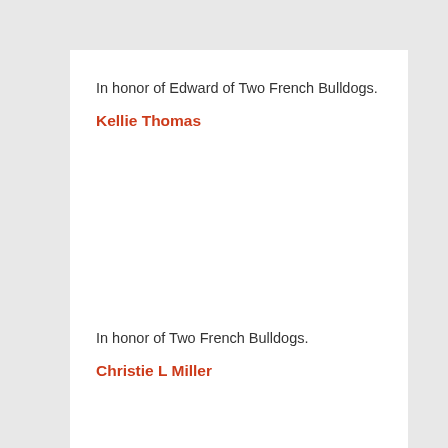In honor of Edward of Two French Bulldogs.
Kellie Thomas
In honor of Two French Bulldogs.
Christie L Miller